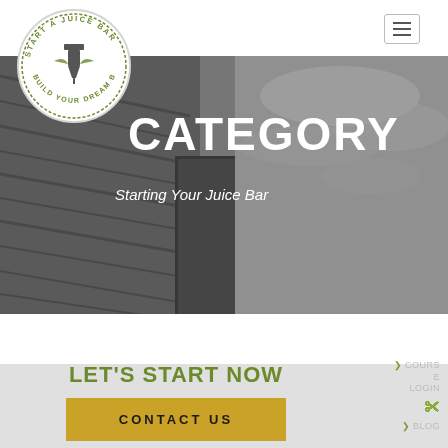[Figure (logo): Start A Juice Bar - Build Your Dream Business circular logo with juicer illustration]
[Figure (photo): Black and white hero photo showing wood planks and a building exterior with cloudy sky]
CATEGORY
Starting Your Juice Bar
LET'S START NOW
CONTACT US
COURSE LOGIN
BLOG